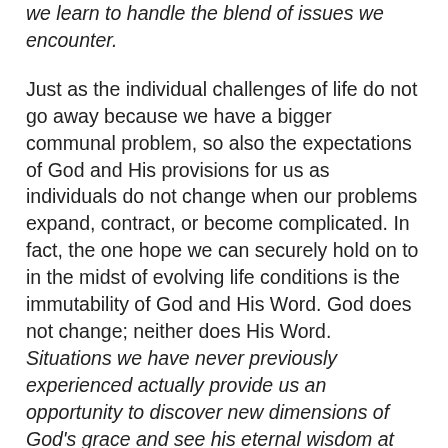we learn to handle the blend of issues we encounter.
Just as the individual challenges of life do not go away because we have a bigger communal problem, so also the expectations of God and His provisions for us as individuals do not change when our problems expand, contract, or become complicated. In fact, the one hope we can securely hold on to in the midst of evolving life conditions is the immutability of God and His Word. God does not change; neither does His Word. Situations we have never previously experienced actually provide us an opportunity to discover new dimensions of God's grace and see his eternal wisdom at work in our lives.